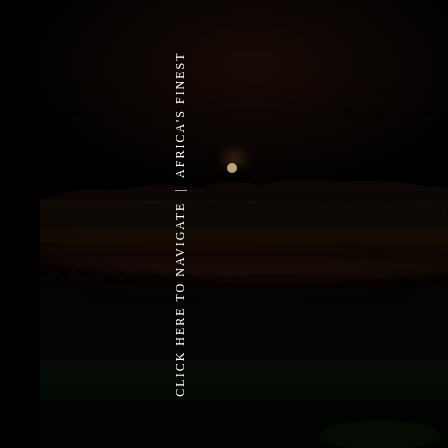[Figure (photo): Dark nighttime landscape photograph showing a misty African savanna or wilderness scene at dusk or dawn. A dim sun or moon is barely visible on the horizon through haze and mist, with silhouettes of trees and land masses in the distance. The overall image is very dark with deep shadows and a moody, atmospheric quality.]
CLICK HERE TO NAVIGATE | AFRICA'S FINEST